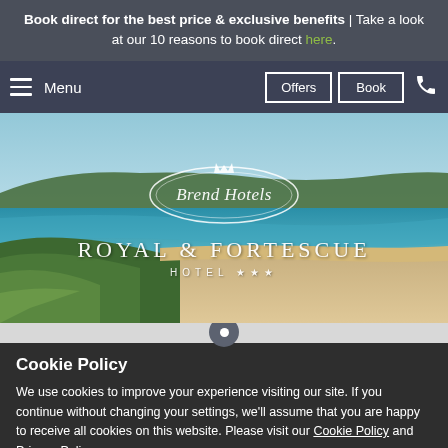Book direct for the best price & exclusive benefits | Take a look at our 10 reasons to book direct here.
[Figure (screenshot): Navigation bar with hamburger menu (Menu), Offers button, Book button, and phone icon on dark blue/grey background]
[Figure (photo): Coastal landscape photograph showing a sandy beach, turquoise sea, green cliffs and hills with Brend Hotels logo and Royal & Fortescue Hotel *** overlay text]
Cookie Policy
We use cookies to improve your experience visiting our site. If you continue without changing your settings, we'll assume that you are happy to receive all cookies on this website. Please visit our Cookie Policy and Privacy Policy.